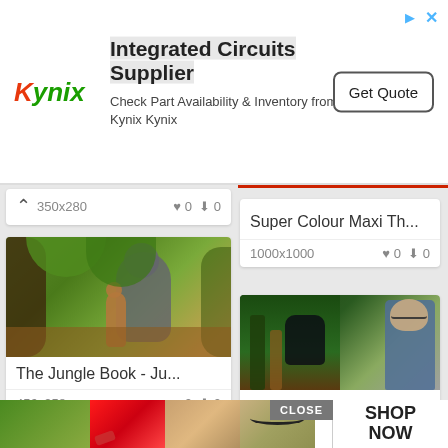[Figure (screenshot): Kynix Integrated Circuits Supplier advertisement banner with logo, text and Get Quote button]
[Figure (screenshot): Image gallery webpage showing Jungle Book cartoon and live-action images with metadata including dimensions, likes and downloads]
[Figure (screenshot): Ulta beauty advertisement bar at the bottom with CLOSE and SHOP NOW buttons]